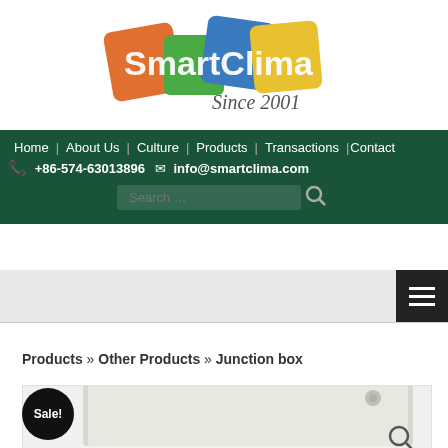[Figure (logo): SmartClima logo with colored squares (orange, green, blue, yellow) and italic text 'Since 2001']
Home | About Us | Culture | Products | Transactions | Contact
+86-574-63013896  info@smartclima.com
Search ...
Products » Other Products » Junction box
[Figure (photo): Junction box product photo - white/cream colored rectangular panel, partially visible. Sale! badge in black circle. Search icon in bottom right.]